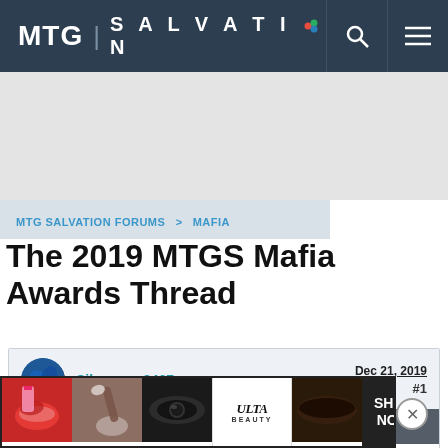MTG | SALVATION
MTG SALVATION FORUMS > MAFIA
The 2019 MTGS Mafia Awards Thread
Silvercrys3467   Dec 21, 2019   #1
Member Details
The 2019 MTGS Mafia
[Figure (photo): ULTA beauty advertisement banner at bottom of page]
SHOP NOW